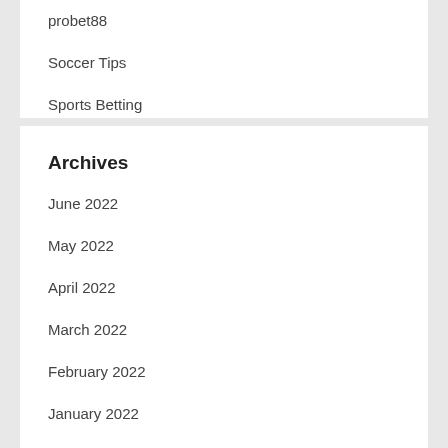probet88
Soccer Tips
Sports Betting
Sports Online
Archives
June 2022
May 2022
April 2022
March 2022
February 2022
January 2022
December 2021
November 2021
October 2021
August 2021
July 2021